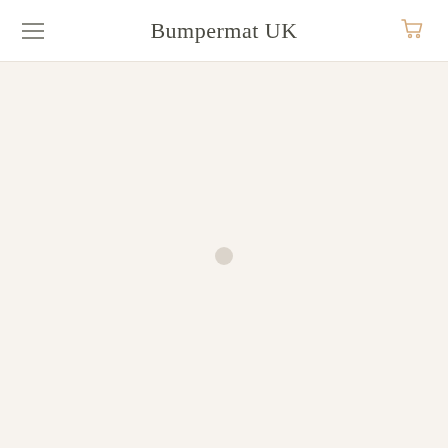Bumpermat UK
[Figure (screenshot): Loading screen of Bumpermat UK e-commerce website with beige/cream background and a small circular loading indicator in the center]